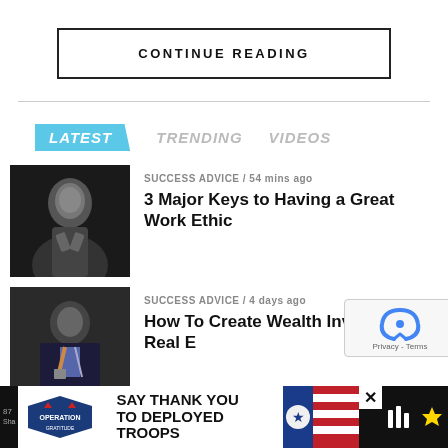CONTINUE READING
LATEST   TRENDING   VIDEOS
SUCCESS ADVICE / 54 mins ago
3 Major Keys to Having a Great Work Ethic
[Figure (photo): Black and white portrait of a man in a suit]
SUCCESS ADVICE / 4 days ago
How To Create Wealth Investing In Real E...
[Figure (photo): Man in suit and tie]
SUCCESS ADVICE / 5 days ago
[Figure (photo): Partial thumbnail]
SAY THANK YOU TO DEPLOYED TROOPS